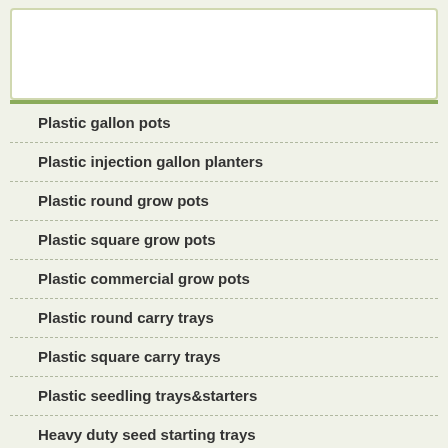Plastic gallon pots
Plastic injection gallon planters
Plastic round grow pots
Plastic square grow pots
Plastic commercial grow pots
Plastic round carry trays
Plastic square carry trays
Plastic seedling trays&starters
Heavy duty seed starting trays
Fabric grow bags
Perlite and Vermiculite